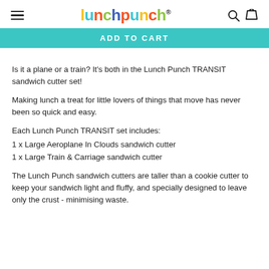lunchpunch® [hamburger menu, search icon, cart icon]
[Figure (screenshot): ADD TO CART button bar in teal/turquoise color]
Is it a plane or a train? It's both in the Lunch Punch TRANSIT sandwich cutter set!
Making lunch a treat for little lovers of things that move has never been so quick and easy.
Each Lunch Punch TRANSIT set includes:
1 x Large Aeroplane In Clouds sandwich cutter
1 x Large Train & Carriage sandwich cutter
The Lunch Punch sandwich cutters are taller than a cookie cutter to keep your sandwich light and fluffy, and specially designed to leave only the crust - minimising waste.